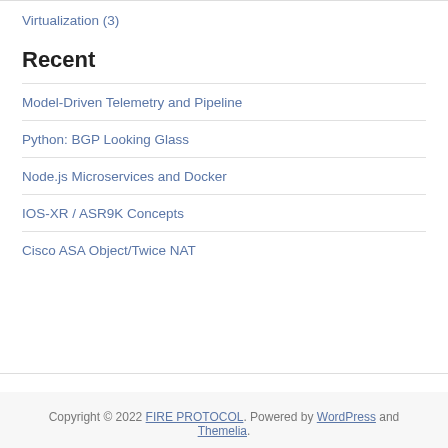Virtualization (3)
Recent
Model-Driven Telemetry and Pipeline
Python: BGP Looking Glass
Node.js Microservices and Docker
IOS-XR / ASR9K Concepts
Cisco ASA Object/Twice NAT
Copyright © 2022 FIRE PROTOCOL. Powered by WordPress and Themelia.